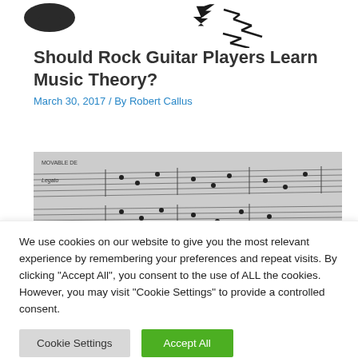[Figure (logo): Two partial logos at top: dark shape on left, stylized guitar/lightning bolt logo on right]
Should Rock Guitar Players Learn Music Theory?
March 30, 2017 / By Robert Callus
[Figure (photo): Black and white photo of sheet music showing musical notation, marked 'MOVABLE DEVIL' and 'Legato']
We use cookies on our website to give you the most relevant experience by remembering your preferences and repeat visits. By clicking "Accept All", you consent to the use of ALL the cookies. However, you may visit "Cookie Settings" to provide a controlled consent.
Cookie Settings   Accept All